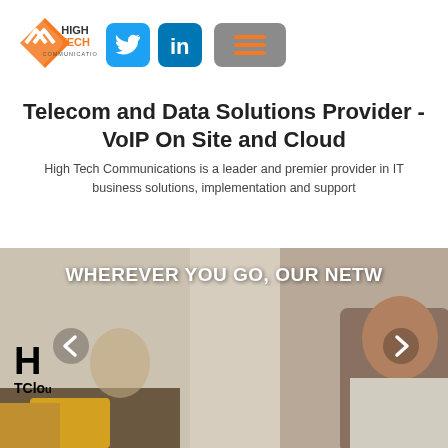[Figure (logo): High Tech Communications logo - orange diamond shape with HIGH TECH COMMUNICATIONS text]
[Figure (logo): Twitter bird icon on blue rounded square button]
[Figure (logo): LinkedIn 'in' icon on blue rounded square button]
[Figure (other): Gray rounded rectangle hamburger menu icon with three orange horizontal lines]
Telecom and Data Solutions Provider - VoIP On Site and Cloud
High Tech Communications is a leader and premier provider in IT business solutions, implementation and support
[Figure (photo): Promotional banner image showing a man on a phone call with text overlay: WHEREVER YOU GO, OUR NETW... and HTC Cloud label, with left/right navigation arrows]